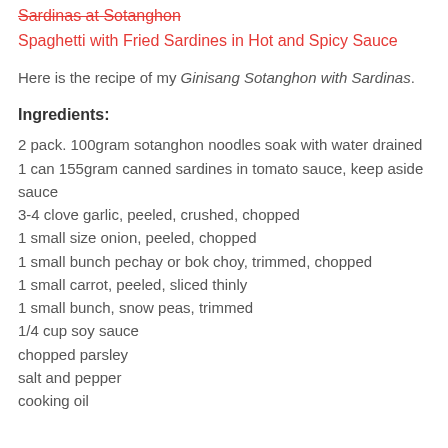Sardinas at Sotanghon
Spaghetti with Fried Sardines in Hot and Spicy Sauce
Here is the recipe of my Ginisang Sotanghon with Sardinas.
Ingredients:
2 pack. 100gram sotanghon noodles soak with water drained
1 can 155gram canned sardines in tomato sauce, keep aside sauce
3-4 clove garlic, peeled, crushed, chopped
1 small size onion, peeled, chopped
1 small bunch pechay or bok choy, trimmed, chopped
1 small carrot, peeled, sliced thinly
1 small bunch, snow peas, trimmed
1/4 cup soy sauce
chopped parsley
salt and pepper
cooking oil